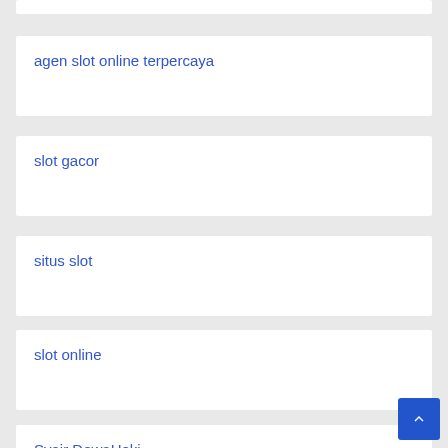agen slot online terpercaya
slot gacor
situs slot
slot online
Syair DewaHoki